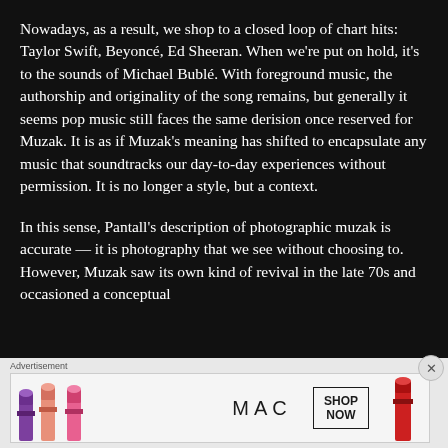Nowadays, as a result, we shop to a closed loop of chart hits: Taylor Swift, Beyoncé, Ed Sheeran. When we're put on hold, it's to the sounds of Michael Bublé. With foreground music, the authorship and originality of the song remains, but generally it seems pop music still faces the same derision once reserved for Muzak. It is as if Muzak's meaning has shifted to encapsulate any music that soundtracks our day-to-day experiences without permission. It is no longer a style, but a context.
In this sense, Pantall's description of photographic muzak is accurate — it is photography that we see without choosing to. However, Muzak saw its own kind of revival in the late 70s and occasioned a conceptual
[Figure (photo): MAC Cosmetics advertisement banner showing colorful lipsticks on the left and MAC logo with SHOP NOW button on the right against a light grey background]